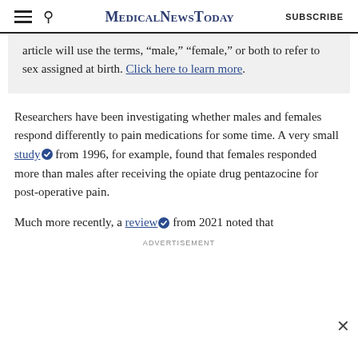MedicalNewsToday | SUBSCRIBE
article will use the terms, “male,” “female,” or both to refer to sex assigned at birth. Click here to learn more.
Researchers have been investigating whether males and females respond differently to pain medications for some time. A very small study from 1996, for example, found that females responded more than males after receiving the opiate drug pentazocine for post-operative pain.
Much more recently, a review from 2021 noted that
ADVERTISEMENT